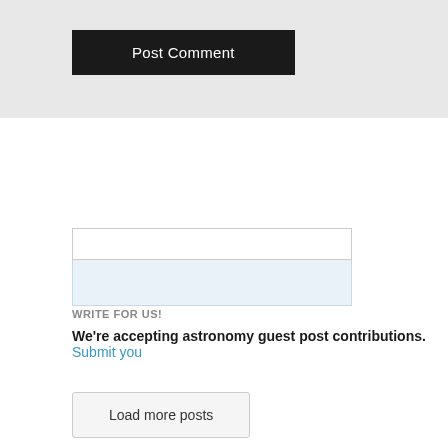[Figure (screenshot): Post Comment button — dark black/charcoal rectangular button with white text]
[Figure (screenshot): Search input box with two-part appearance: white top section and light blue bottom section]
WRITE FOR US!
We're accepting astronomy guest post contributions. Submit you
[Figure (screenshot): Load more posts button — light gray rounded rectangular button]